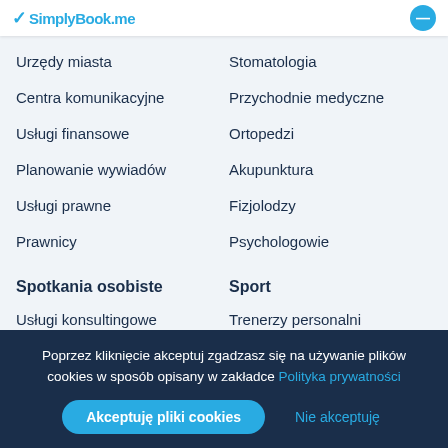SimplyBook.me
Urzędy miasta
Stomatologia
Centra komunikacyjne
Przychodnie medyczne
Usługi finansowe
Ortopedzi
Planowanie wywiadów
Akupunktura
Usługi prawne
Fizjolodzy
Prawnicy
Psychologowie
Spotkania osobiste
Sport
Usługi konsultingowe
Trenerzy personalni
Coaching
Siłownie
Doradztwo biznesowe
Zajecia fitness
Poprzez kliknięcie akceptuj zgadzasz się na używanie plików cookies w sposób opisany w zakładce Polityka prywatności
Akceptuję pliki cookies
Nie akceptuję